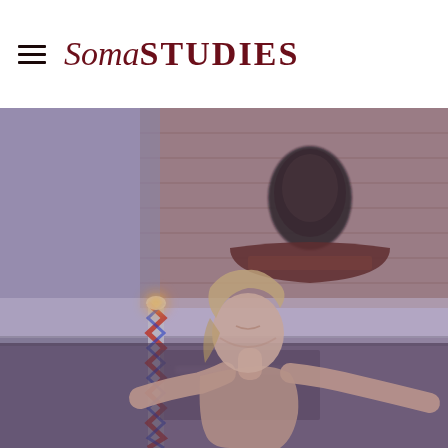SomaSTUDIES
[Figure (photo): A dancer (blonde woman) with arms outstretched and head tilted back, photographed outdoors in front of a brick building with a barber shop sign and barber pole. The image has a purple/mauve color cast. The logo 'SomaSTUDIES' appears in the white header bar at the top.]